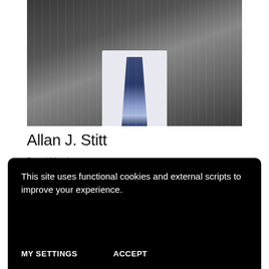[Figure (photo): Headshot of Allan J. Stitt wearing a dark pinstripe suit with a striped blue tie and white dress shirt]
Allan J. Stitt
Board Member
Preferred Phone:
310-234-8287
Preferred Email:
This site uses functional cookies and external scripts to improve your experience.
MY SETTINGS
ACCEPT